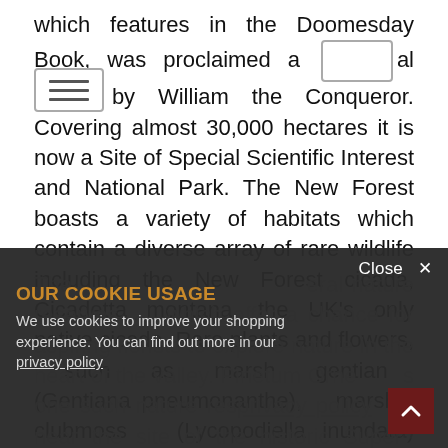which features in the Doomesday Book, was proclaimed a royal forest by William the Conqueror. Covering almost 30,000 hectares it is now a Site of Special Scientific Interest and National Park. The New Forest boasts a variety of habitats which contain a diverse array of rare wildlife including the New Forest cicada, Cicadetta montana, the UK's only native cicada. Rare plants and flowers, such as marsh gentian (Gentiana pneumonanthe), marsh clubmoss (Lycopodiella inundata) and the wild gladiolus (Gladiolus illyricus) can be found in the wet heaths of the site.
[Figure (other): Navigation/menu icon — a rectangle with three horizontal lines]
The ... eral nature reserves which offer a chance for aspiring florists to explore nature in the heart of the valley. Pinetum Orne ... s one such nature res ... near the site of the historic Super ... e factory, which was famous for its production of Spitfires
OUR COOKIE USAGE
We use cookies to improve your shopping experience. You can find out more in our privacy policy